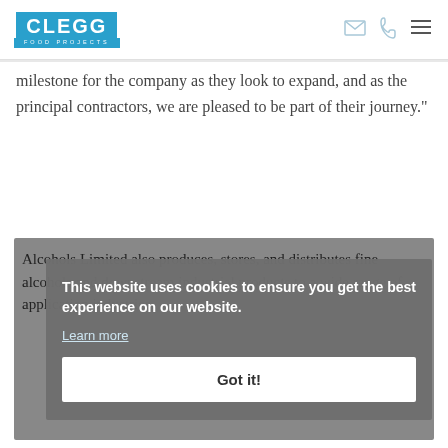[Figure (logo): Clegg Food Projects logo — blue rectangle with white bold text CLEGG above smaller text FOOD PROJECTS]
milestone for the company as they look to expand, and as the principal contractors, we are pleased to be part of their journey."
Alcohols Limited also produces, stores, and distributes fine alcohols and downstream industrial products to a wide range of application industries.
This website uses cookies to ensure you get the best experience on our website.
Learn more
Got it!